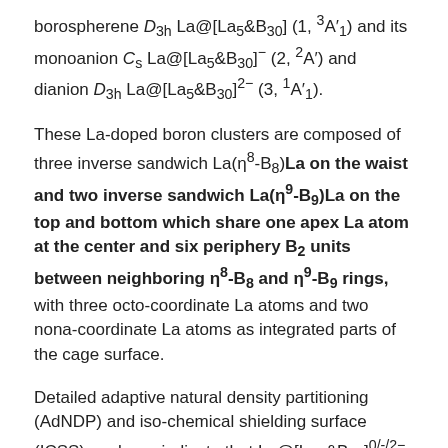borospherene D3h La@[La5&B30] (1, 3A'1) and its monoanion Cs La@[La5&B30]− (2, 2A') and dianion D3h La@[La5&B30]2− (3, 1A'1).
These La-doped boron clusters are composed of three inverse sandwich La(η8-B8)La on the waist and two inverse sandwich La(η9-B9)La on the top and bottom which share one apex La atom at the center and six periphery B2 units between neighboring η8-B8 and η9-B9 rings, with three octo-coordinate La atoms and two nona-coordinate La atoms as integrated parts of the cage surface.
Detailed adaptive natural density partitioning (AdNDP) and iso-chemical shielding surface (ICSS) analyses indicate that La@[La5&B30]0/-/2− (1/2/3) are spherically